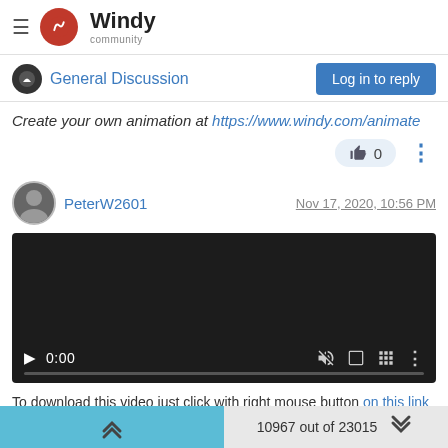Windy community
General Discussion
Create your own animation at https://www.windy.com/animate
👍 0
PeterW2601  Nov 17, 2020, 10:56 PM
[Figure (screenshot): Embedded video player showing 0:00 timestamp with playback controls including play button, mute icon, fullscreen icon, and more options. Dark background with progress bar at bottom.]
To download this video just click with right mouse button on this link
10967 out of 23015